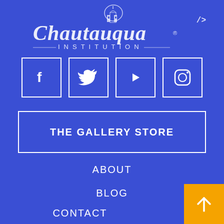[Figure (logo): Chautauqua Institution logo with script lettering and architectural emblem above]
/>
[Figure (infographic): Row of four social media icon boxes: Facebook, Twitter, YouTube, Instagram]
THE GALLERY STORE
ABOUT
BLOG
CONTACT
[Figure (other): Orange back-to-top button with upward arrow in bottom right corner]